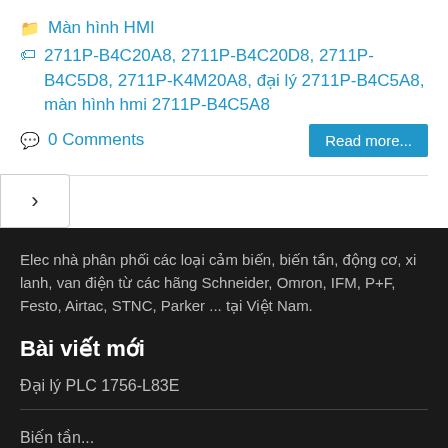Màn hình HMI
2711P-B4C20A8, 2711P-B4C20D8, 2711P-B4C5D8, 2711P-K4M20A8, đại lý 2711P-B4C5A8, màn hình hmi 2711P-B4C5A8
0 Comments
Read more...
Elec nhà phân phối các loại cảm biến, biến tần, động cơ, xi lanh, van điện từ các hãng Schneider, Omron, IFM, P+F, Festo, Airtac, STNC, Parker ... tại Việt Nam.
Bài viết mới
Đại lý PLC 1756-L83E
Biến tần...